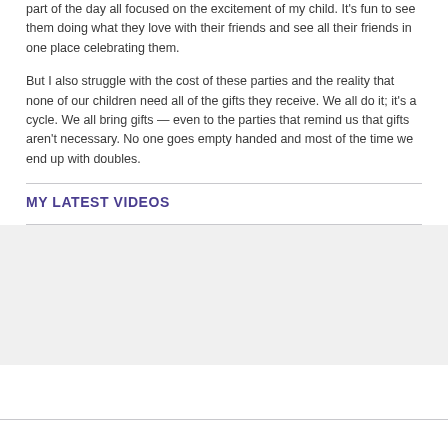part of the day all focused on the excitement of my child. It's fun to see them doing what they love with their friends and see all their friends in one place celebrating them.
But I also struggle with the cost of these parties and the reality that none of our children need all of the gifts they receive. We all do it; it's a cycle. We all bring gifts — even to the parties that remind us that gifts aren't necessary. No one goes empty handed and most of the time we end up with doubles.
MY LATEST VIDEOS
[Figure (other): Video player area, blank/grey rectangle]